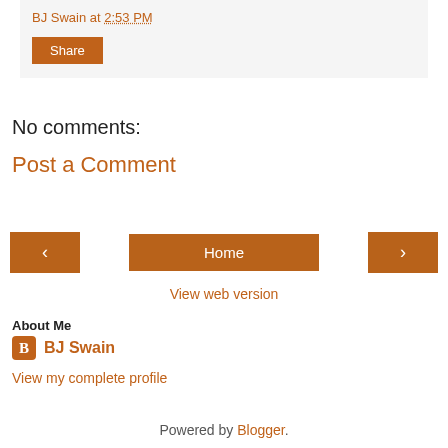BJ Swain at 2:53 PM
Share
No comments:
Post a Comment
< Home >
View web version
About Me
BJ Swain
View my complete profile
Powered by Blogger.